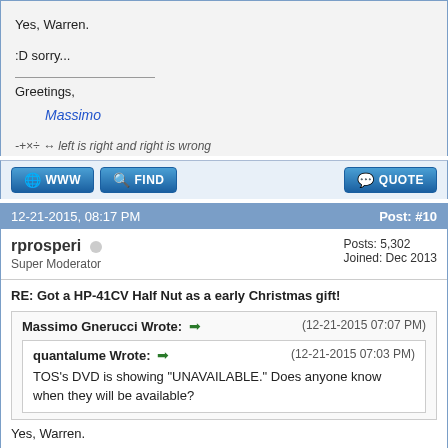Yes, Warren.

:D sorry...

Greetings,
    Massimo

-+×÷ ↔ left is right and right is wrong
12-21-2015, 08:17 PM   Post: #10
rprosperi  Super Moderator  Posts: 5,302  Joined: Dec 2013
RE: Got a HP-41CV Half Nut as a early Christmas gift!
Massimo Gnerucci Wrote: → (12-21-2015 07:07 PM)
quantalume Wrote: → (12-21-2015 07:03 PM)
TOS's DVD is showing "UNAVAILABLE." Does anyone know when they will be available?
Yes, Warren.